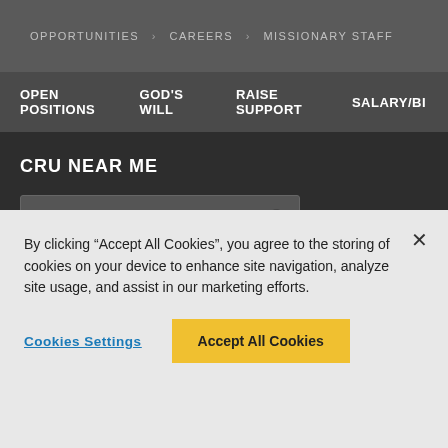OPPORTUNITIES > CAREERS > MISSIONARY STAFF
OPEN POSITIONS   GOD'S WILL   RAISE SUPPORT   SALARY/BI
CRU NEAR ME
Enter your City/Zip/State
SUBSCRIBE TO CRU
By clicking “Accept All Cookies”, you agree to the storing of cookies on your device to enhance site navigation, analyze site usage, and assist in our marketing efforts.
Cookies Settings
Accept All Cookies